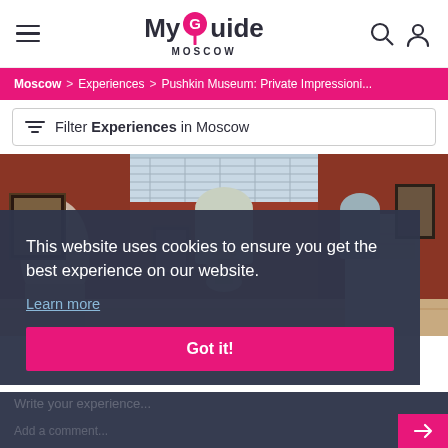MyGuide Moscow
Moscow > Experiences > Pushkin Museum: Private Impressioni...
Filter Experiences in Moscow
[Figure (photo): Interior of the Pushkin Museum showing classical sculpture gallery with red walls, white sculptures, and a skylight ceiling]
This website uses cookies to ensure you get the best experience on our website. Learn more
Got it!